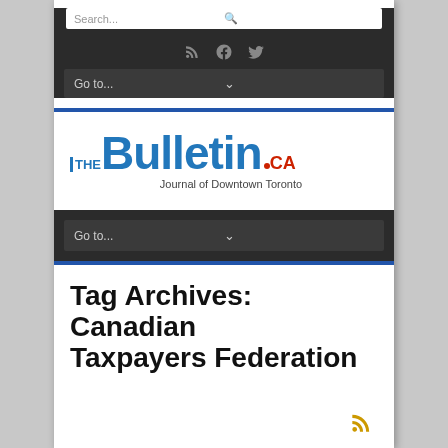Search...
[Figure (screenshot): Social media icons: RSS feed, Facebook, Twitter]
Go to...
[Figure (logo): The Bulletin.CA - Journal of Downtown Toronto logo]
Go to...
Tag Archives: Canadian Taxpayers Federation
[Figure (other): RSS icon in gold/yellow color at bottom right]